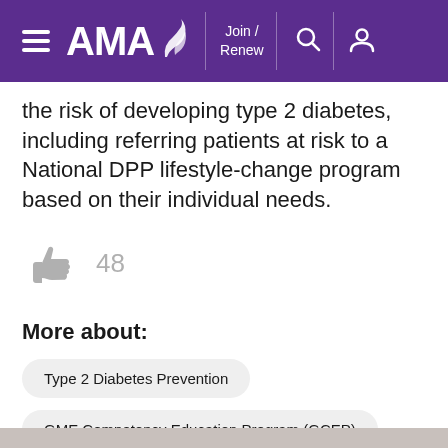AMA — Join / Renew
the risk of developing type 2 diabetes, including referring patients at risk to a National DPP lifestyle-change program based on their individual needs.
[Figure (illustration): Thumbs up icon with count 48]
More about:
Type 2 Diabetes Prevention
GME Competency Education Program (GCEP)